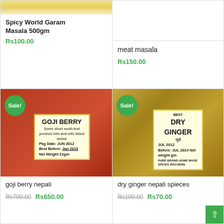[Figure (photo): Partial view of Spicy World Garam Masala 500gm product at top of card]
Spicy World Garam Masala 500gm
Rs100.00
[Figure (photo): meat masala product photo area (mostly white/blank)]
meat masala
Rs150.00
[Figure (photo): Goji Berry Nepali product in clear bag with Sale! badge, label reads GOJI BERRY JUN 2012]
goji berry nepali
Rs700.00  Rs650.00
[Figure (photo): Dry Ginger Nepali Spieces product in clear bag with Sale! badge, label reads BEST DRY GINGER JUL 2012 JUL 2014]
dry ginger nepali spieces
Rs100.00  Rs70.00